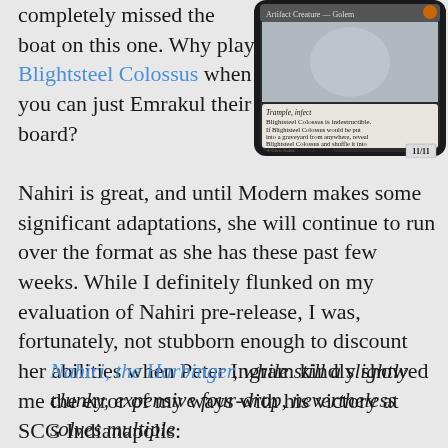[Figure (illustration): Magic: The Gathering card - Blightsteel Colossus with Trample, infect abilities and 11/11 power/toughness, shown in a dark rounded frame]
completely missed the boat on this one. Why play Blightsteel Colossus when you can just Emrakul their board? Nahiri is great, and until Modern makes some significant adaptations, she will continue to run over the format as she has these past few weeks. While I definitely flunked on my evaluation of Nahiri pre-release, I was, fortunately, not stubborn enough to discount her abilities when Peter Ingram kindly showed me the error of my ways with his victory at SCG Indianapolis:
Nahiri, the Harbinger, while still a slightly clunky, expensive four-drop, nevertheless solves multiple